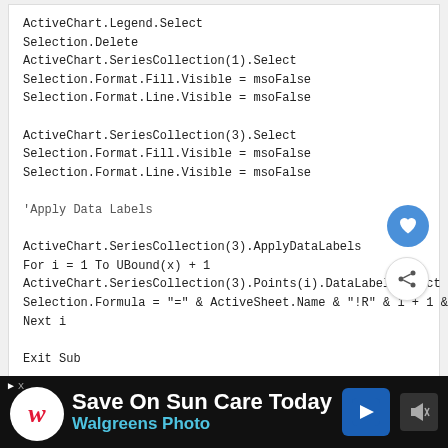ActiveChart.Legend.Select
Selection.Delete
ActiveChart.SeriesCollection(1).Select
Selection.Format.Fill.Visible = msoFalse
Selection.Format.Line.Visible = msoFalse

ActiveChart.SeriesCollection(3).Select
Selection.Format.Fill.Visible = msoFalse
Selection.Format.Line.Visible = msoFalse

'Apply Data Labels

ActiveChart.SeriesCollection(3).ApplyDataLabels
For i = 1 To UBound(x) + 1
ActiveChart.SeriesCollection(3).Points(i).DataLabel.Select
Selection.Formula = "=" & ActiveSheet.Name & "!R" & i + 1 & "C3"
Next i

Exit Sub

Err1:
MsgBox ("An error has occurred")
Exit Sub

Err2:
MsgBox ("Non-numeric data")
End Sub[/code]
Reply
Rob says:
[Figure (screenshot): Advertisement bar: Walgreens Photo - Save On Sun Care Today]
[Figure (screenshot): What's Next thumbnail: How to show Indian...]
[Figure (screenshot): Heart (favorite) and Share floating action buttons]